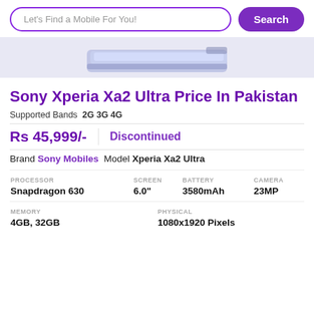Let's Find a Mobile For You! | Search
[Figure (photo): Sony Xperia Xa2 Ultra phone image, top portion visible, light blue/silver color]
Sony Xperia Xa2 Ultra Price In Pakistan
Supported Bands 2G 3G 4G
Rs 45,999/-    Discontinued
Brand Sony Mobiles Model Xperia Xa2 Ultra
| PROCESSOR | SCREEN | BATTERY | CAMERA |
| --- | --- | --- | --- |
| Snapdragon 630 | 6.0" | 3580mAh | 23MP |
| MEMORY | PHYSICAL |
| --- | --- |
| 4GB, 32GB | 1080x1920 Pixels |